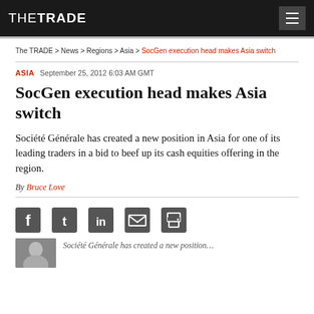THE TRADE
The TRADE > News > Regions > Asia > SocGen execution head makes Asia switch
ASIA  September 25, 2012 6:03 AM GMT
SocGen execution head makes Asia switch
Société Générale has created a new position in Asia for one of its leading traders in a bid to beef up its cash equities offering in the region.
By Bruce Love
[Figure (infographic): Social sharing icons: Facebook, Twitter, LinkedIn, Email, Print]
[Figure (photo): Thumbnail portrait photo, partially visible at bottom]